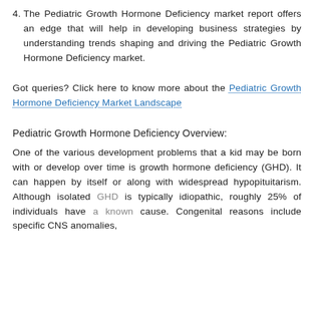4. The Pediatric Growth Hormone Deficiency market report offers an edge that will help in developing business strategies by understanding trends shaping and driving the Pediatric Growth Hormone Deficiency market.
Got queries? Click here to know more about the Pediatric Growth Hormone Deficiency Market Landscape
Pediatric Growth Hormone Deficiency Overview:
One of the various development problems that a kid may be born with or develop over time is growth hormone deficiency (GHD). It can happen by itself or along with widespread hypopituitarism. Although isolated GHD is typically idiopathic, roughly 25% of individuals have a known cause. Congenital reasons include specific CNS anomalies,